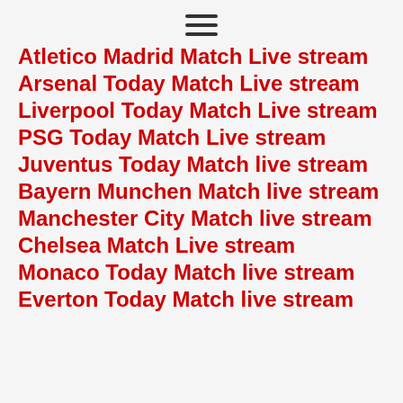[Figure (other): Hamburger menu icon (three horizontal lines)]
Atletico Madrid Match Live stream
Arsenal Today Match Live stream
Liverpool Today Match Live stream
PSG Today Match Live stream
Juventus Today Match live stream
Bayern Munchen Match live stream
Manchester City Match live stream
Chelsea Match Live stream
Monaco Today Match live stream
Everton Today Match live stream